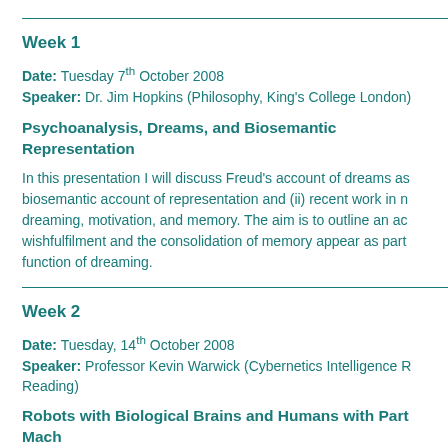Week 1
Date: Tuesday 7th October 2008
Speaker: Dr. Jim Hopkins (Philosophy, King's College London)
Psychoanalysis, Dreams, and Biosemantic Representation
In this presentation I will discuss Freud's account of dreams as biosemantic account of representation and (ii) recent work in dreaming, motivation, and memory. The aim is to outline an account where wishfulfilment and the consolidation of memory appear as part of the function of dreaming.
Week 2
Date: Tuesday, 14th October 2008
Speaker: Professor Kevin Warwick (Cybernetics Intelligence Research, Reading)
Robots with Biological Brains and Humans with Part Mach